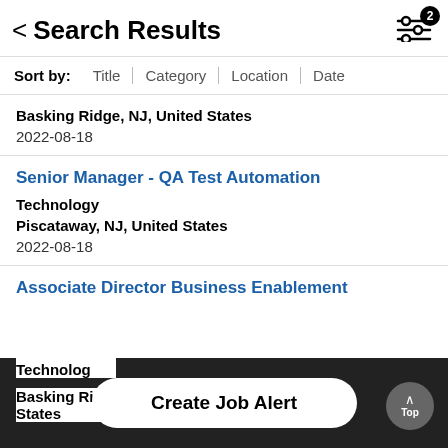Search Results
Sort by: Title | Category | Location | Date
Basking Ridge, NJ, United States
2022-08-18
Senior Manager - QA Test Automation
Technology
Piscataway, NJ, United States
2022-08-18
Associate Director Business Enablement
Technology
Basking Ridge, NJ, United States
Create Job Alert